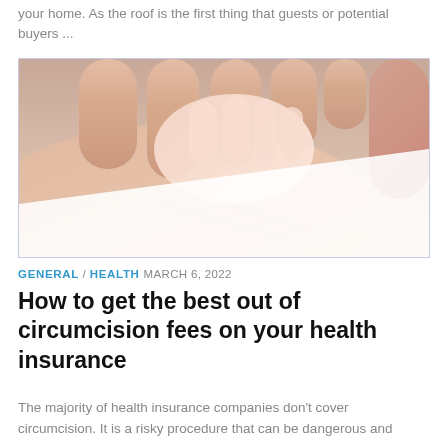your home. As the roof is the first thing that guests or potential buyers ...
[Figure (photo): Close-up photo of an adult hand holding a baby's hand, with a diagonal white stripe across the lower portion of the image.]
GENERAL / HEALTH MARCH 6, 2022
How to get the best out of circumcision fees on your health insurance
The majority of health insurance companies don't cover circumcision. It is a risky procedure that can be dangerous and